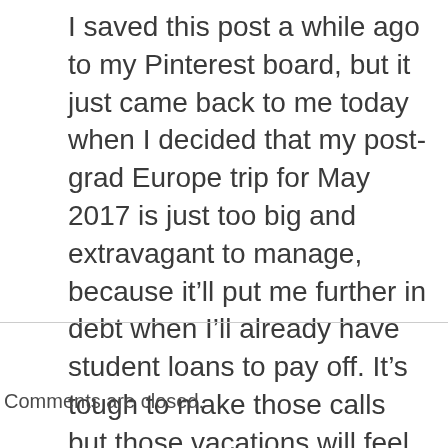I saved this post a while ago to my Pinterest board, but it just came back to me today when I decided that my post-grad Europe trip for May 2017 is just too big and extravagant to manage, because it'll put me further in debt when I'll already have student loans to pay off. It's tough to make those calls but those vacations will feel much better when we can truly afford them without debt hanging over us.
Comments are closed.